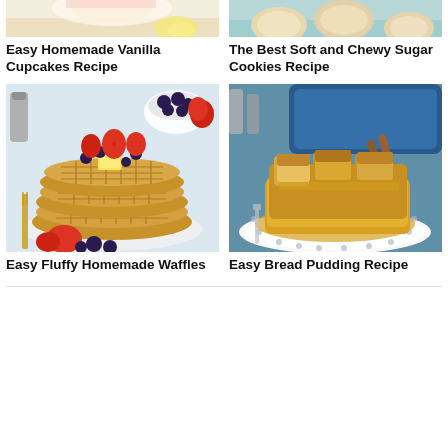[Figure (photo): Partial top of vanilla cupcake food photo]
Easy Homemade Vanilla Cupcakes Recipe
[Figure (photo): Partial top of sugar cookies food photo]
The Best Soft and Chewy Sugar Cookies Recipe
[Figure (photo): Stack of fluffy homemade waffles topped with strawberries, blueberries, and butter, with a fork and berries on a white plate]
Easy Fluffy Homemade Waffles
[Figure (photo): Bread pudding slice on a white polka-dot plate with a blue dish in the background]
Easy Bread Pudding Recipe